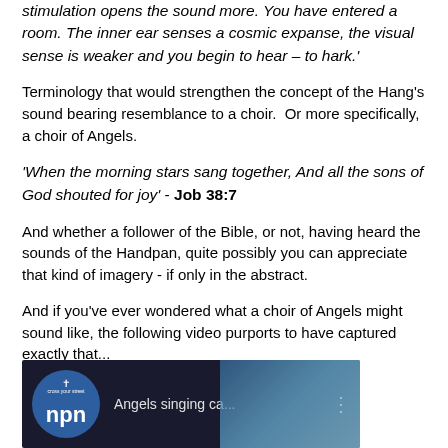stimulation opens the sound more. You have entered a room. The inner ear senses a cosmic expanse, the visual sense is weaker and you begin to hear – to hark.'
Terminology that would strengthen the concept of the Hang's sound bearing resemblance to a choir.  Or more specifically, a choir of Angels.
'When the morning stars sang together, And all the sons of God shouted for joy' - Job 38:7
And whether a follower of the Bible, or not, having heard the sounds of the Handpan, quite possibly you can appreciate that kind of imagery - if only in the abstract.
And if you've ever wondered what a choir of Angels might sound like, the following video purports to have captured exactly that...
[Figure (screenshot): Video thumbnail showing 'Angels singing ca...' with npn logo on dark background]